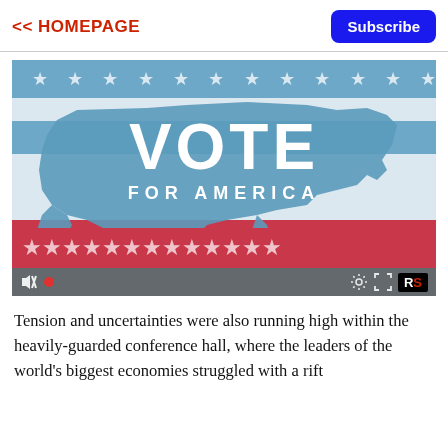<< HOMEPAGE
Subscribe
[Figure (photo): A waving American flag-themed image with a blue US map silhouette in the center displaying 'VOTE FOR AMERICA' in large white text, with stars on top and bottom red/blue stripes. Video player controls visible at bottom including mute icon, record dot, gear icon, fullscreen icon, and RS logo badge.]
Tension and uncertainties were also running high within the heavily-guarded conference hall, where the leaders of the world's biggest economies struggled with a rift